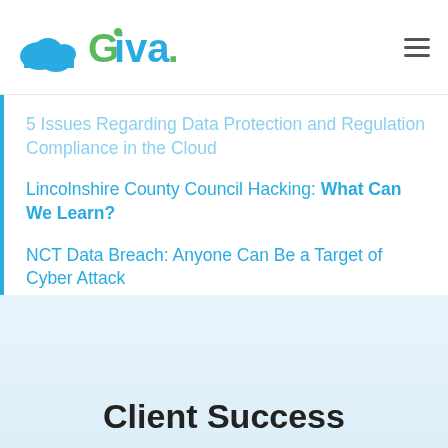Giva
5 Issues Regarding Data Protection and Regulation Compliance in the Cloud
Lincolnshire County Council Hacking: What Can We Learn?
NCT Data Breach: Anyone Can Be a Target of Cyber Attack
5 Main Concerns for Cyber Security Teams
Client Success